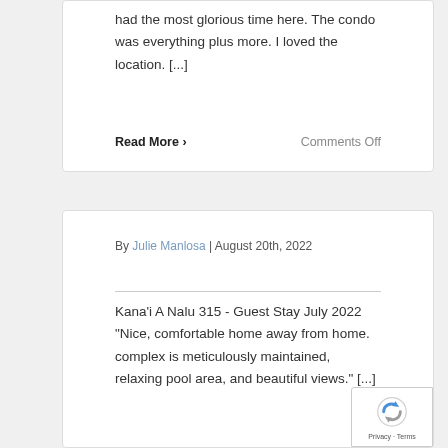had the most glorious time here. The condo was everything plus more. I loved the location. [...]
Read More >
Comments Off
By Julie Manlosa | August 20th, 2022
Kana'i A Nalu 315 - Guest Stay July 2022 "Nice, comfortable home away from home. complex is meticulously maintained, relaxing pool area, and beautiful views." [...]